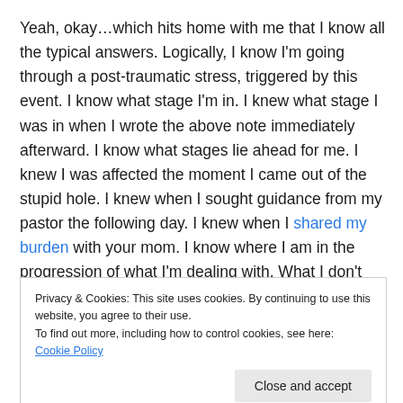Yeah, okay…which hits home with me that I know all the typical answers. Logically, I know I'm going through a post-traumatic stress, triggered by this event. I know what stage I'm in. I knew what stage I was in when I wrote the above note immediately afterward. I know what stages lie ahead for me. I knew I was affected the moment I came out of the stupid hole. I knew when I sought guidance from my pastor the following day. I knew when I shared my burden with your mom. I know where I am in the progression of what I'm dealing with. What I don't know is
Privacy & Cookies: This site uses cookies. By continuing to use this website, you agree to their use. To find out more, including how to control cookies, see here: Cookie Policy